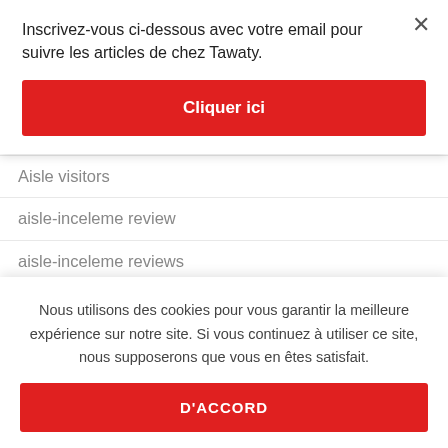Inscrivez-vous ci-dessous avec votre email pour suivre les articles de chez Tawaty.
Cliquer ici
Aisle visitors
aisle-inceleme review
aisle-inceleme reviews
Akron+OH+Ohio hookup sites
alaska-dating review
Nous utilisons des cookies pour vous garantir la meilleure expérience sur notre site. Si vous continuez à utiliser ce site, nous supposerons que vous en êtes satisfait.
D'ACCORD